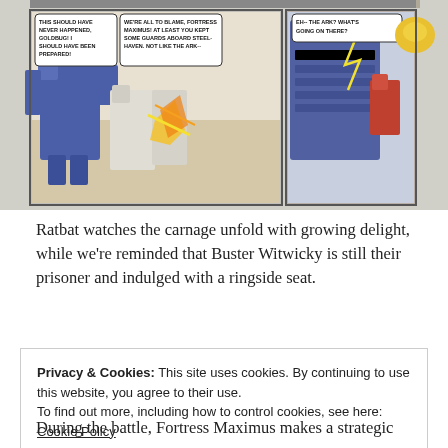[Figure (illustration): Comic book panels showing Transformers robots in battle. Left panel has speech bubbles: 'THIS SHOULD HAVE NEVER HAPPENED, GOLDBUG! I SHOULD HAVE BEEN PREPARED!' and 'WE'RE ALL TO BLAME, FORTRESS MAXIMUS! AT LEAST YOU KEPT SOME GUARDS ABOARD STEEL-HAVEN. NOT LIKE THE ARK--'. Right panel shows a large robot with speech bubble: 'EH-- THE ARK? WHAT'S GOING ON THERE?']
Ratbat watches the carnage unfold with growing delight, while we're reminded that Buster Witwicky is still their prisoner and indulged with a ringside seat.
Privacy & Cookies: This site uses cookies. By continuing to use this website, you agree to their use.
To find out more, including how to control cookies, see here: Cookie Policy
During the battle, Fortress Maximus makes a strategic